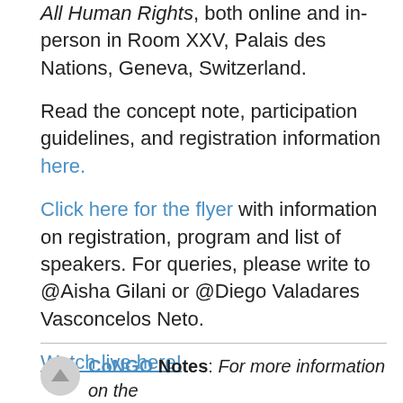All Human Rights, both online and in-person in Room XXV, Palais des Nations, Geneva, Switzerland.
Read the concept note, participation guidelines, and registration information here.
Click here for the flyer with information on registration, program and list of speakers. For queries, please write to @Aisha Gilani or @Diego Valadares Vasconcelos Neto.
Watch live here!
CoNGO Notes: For more information on the